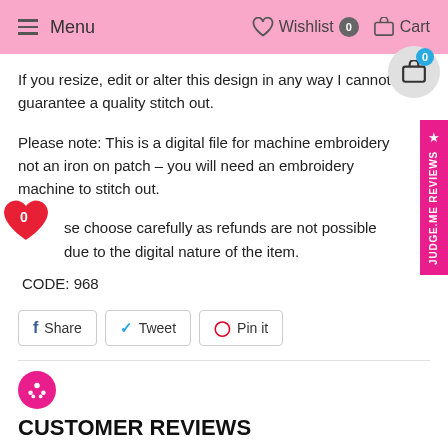Menu | Wishlist 0 | Cart
If you resize, edit or alter this design in any way I cannot guarantee a quality stitch out.
Please note: This is a digital file for machine embroidery not an iron on patch – you will need an embroidery machine to stitch out.
Please choose carefully as refunds are not possible due to the digital nature of the item.
CODE: 968
Share  Tweet  Pin it
CUSTOMER REVIEWS